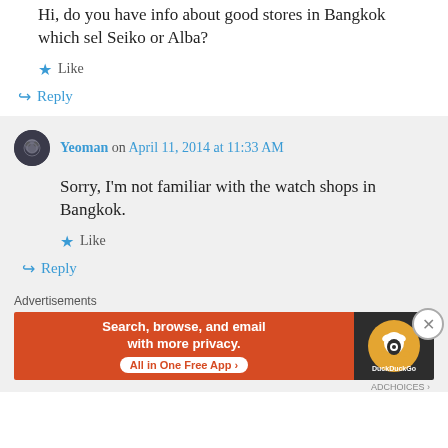Hi, do you have info about good stores in Bangkok which sel Seiko or Alba?
★ Like
↪ Reply
Yeoman on April 11, 2014 at 11:33 AM
Sorry, I'm not familiar with the watch shops in Bangkok.
★ Like
↪ Reply
Advertisements
[Figure (screenshot): DuckDuckGo advertisement banner: orange left panel with text 'Search, browse, and email with more privacy. All in One Free App' and dark right panel with DuckDuckGo logo.]